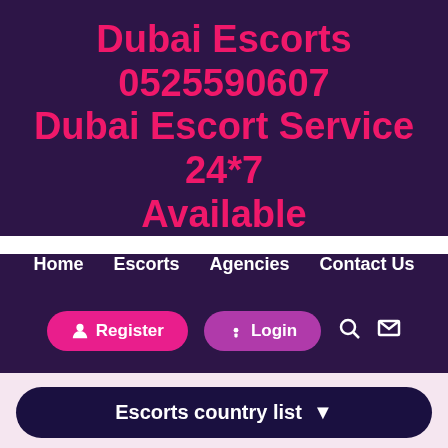Dubai Escorts 0525590607 Dubai Escort Service 24*7 Available
Home   Escorts   Agencies   Contact Us
Register   Login
Escorts country list
Escorts from Indian Escorts In Al
Click WhatsApp +971569407105